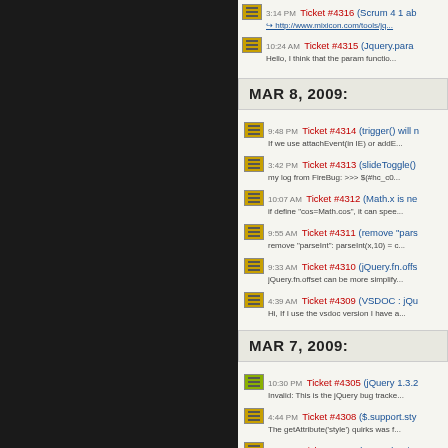3:14 PM Ticket #4316 (Scrum 4 1 abl...) - http://www.mixicon.com/tools/jq...
10:24 AM Ticket #4315 (Jquery.para...) - Hello, I think that the param functio...
MAR 8, 2009:
9:48 PM Ticket #4314 (trigger() will n...) - If we use attachEvent(in IE) or addE...
3:42 PM Ticket #4313 (slideToggle()...) - my log from FireBug: >>> $(#hc_c0...
10:07 AM Ticket #4312 (Math.x is ne...) - if define "cos=Math.cos", it can spee...
9:55 AM Ticket #4311 (remove "pars...) - remove "parseInt": parseInt(x,10) = c...
9:33 AM Ticket #4310 (jQuery.fn.offs...) - jQuery.fn.offset can be more simplify...
4:39 AM Ticket #4309 (VSDOC : jQu...) - Hi, If I use the vsdoc version I have a...
MAR 7, 2009:
10:30 PM Ticket #4305 (jQuery 1.3.2...) - Invalid: This is the jQuery bug tracke...
4:44 PM Ticket #4308 ($.support.sty...) - The getAttribute('style') quirks was f...
1:48 PM Ticket #4307 (Upgrade Sizz...) - As the sizzle engine in jquery at the...